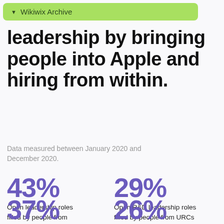Wikiwix Archive
leadership by bringing people into Apple and hiring from within.
Data measured between January 2020 and December 2020.
43%
Open leadership roles filled by people from URCs in the U.S.
29%
Open R&D leadership roles filled by people from URCs in the U.S.
37%
Open leadership roles filled by
26%
Open R&D leadership roles